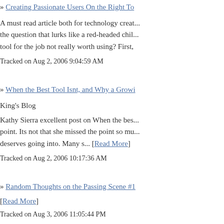» Creating Passionate Users On the Right To...
A must read article both for technology creat... the question that lurks like a red-headed chil... tool for the job not really worth using? First,
Tracked on Aug 2, 2006 9:04:59 AM
» When the Best Tool Isnt, and Why a Growi...
King's Blog
Kathy Sierra excellent post on When the bes... point. Its not that she missed the point so mu... deserves going into. Many s... [Read More]
Tracked on Aug 2, 2006 10:17:36 AM
» Random Thoughts on the Passing Scene #1...
[Read More]
Tracked on Aug 3, 2006 11:05:44 PM
» The best tool: the one you keep using from...